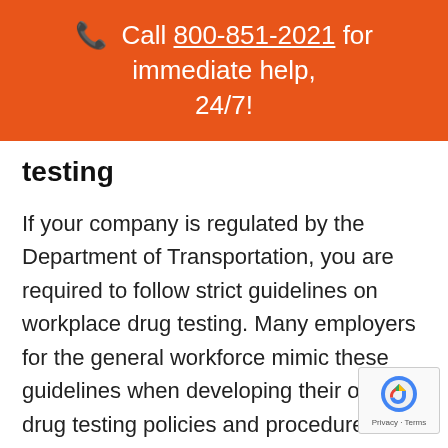Call 800-851-2021 for immediate help, 24/7!
testing
If your company is regulated by the Department of Transportation, you are required to follow strict guidelines on workplace drug testing. Many employers for the general workforce mimic these guidelines when developing their own drug testing policies and procedures.